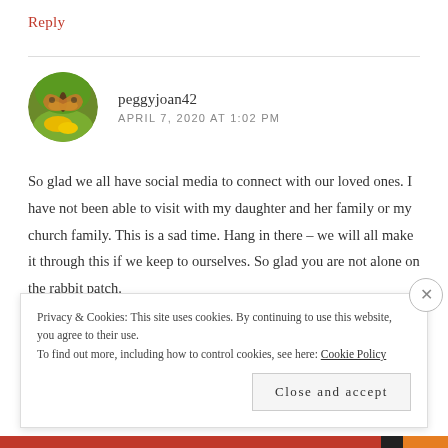Reply
peggyjoan42
APRIL 7, 2020 AT 1:02 PM
So glad we all have social media to connect with our loved ones. I have not been able to visit with my daughter and her family or my church family. This is a sad time. Hang in there – we will all make it through this if we keep to ourselves. So glad you are not alone on the rabbit patch.
Privacy & Cookies: This site uses cookies. By continuing to use this website, you agree to their use.
To find out more, including how to control cookies, see here: Cookie Policy
Close and accept